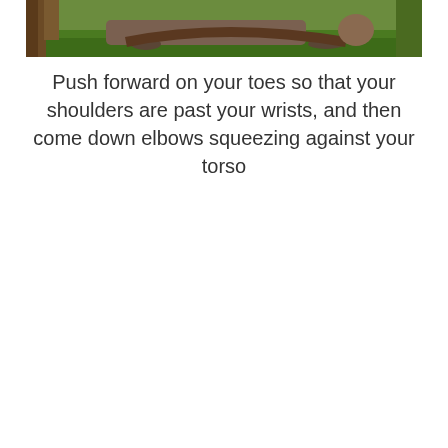[Figure (photo): A person performing a push-up exercise on green grass outdoors, with a tree visible in the background. The image is cropped to show the upper body position.]
Push forward on your toes so that your shoulders are past your wrists, and then come down elbows squeezing against your torso